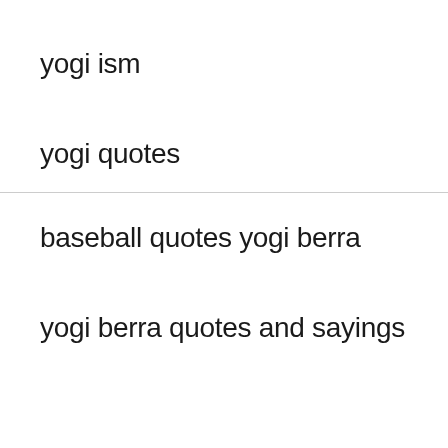yogi ism
yogi quotes
baseball quotes yogi berra
yogi berra quotes and sayings